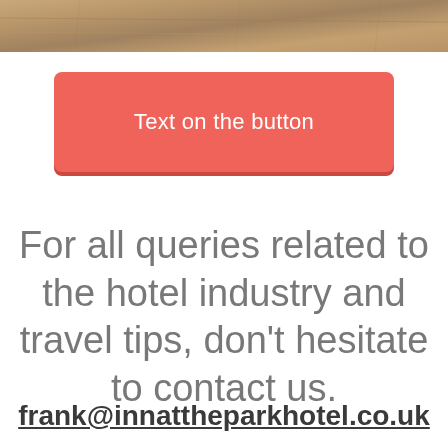[Figure (photo): Partial top strip of a hotel room photo showing a wooden surface or floor in warm tan/brown tones]
Text on the button
For all queries related to the hotel industry and travel tips, don't hesitate to contact us.
frank@innattheparkhotel.co.uk